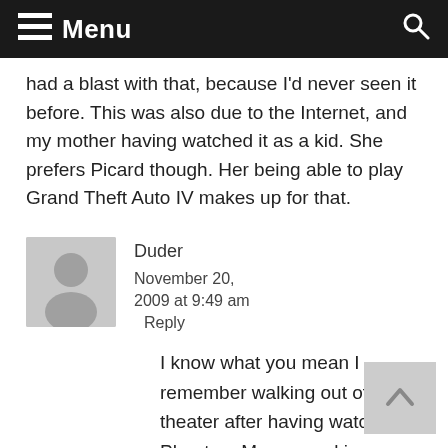Menu
had a blast with that, because I'd never seen it before. This was also due to the Internet, and my mother having watched it as a kid. She prefers Picard though. Her being able to play Grand Theft Auto IV makes up for that.
Duder
November 20, 2009 at 9:49 am
Reply
I know what you mean I remember walking out of the theater after having watched Phantom Menace asking myself "that was awesome, right?" I